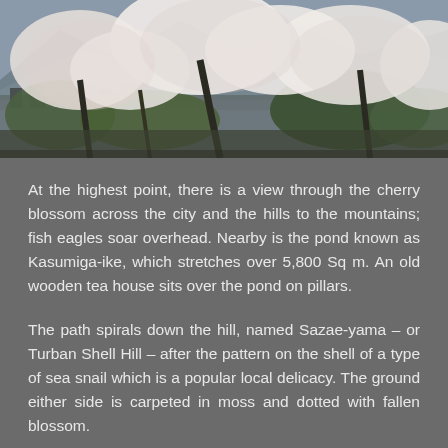[Figure (photo): Photograph of cherry blossom trees in full bloom with a city and mountains visible in the background.]
At the highest point, there is a view through the cherry blossom across the city and the hills to the mountains; fish eagles soar overhead. Nearby is the pond known as Kasumiga-ike, which stretches over 5,800 Sq m. An old wooden tea house sits over the pond on pillars.
The path spirals down the hill, named Sazae-yama – or Turban Shell Hill – after the pattern on the shell of a type of sea snail which is a popular local delicacy. The ground either side is carpeted in moss and dotted with fallen blossom.